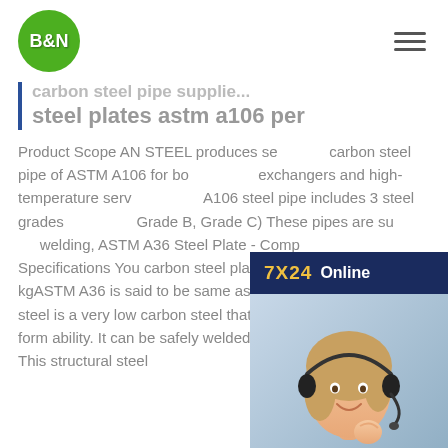[Figure (logo): B&N logo — green circle with white bold text B&N]
carbon steel pipe supplier steel plates astm a106 per kg
[Figure (photo): Customer service chat widget: 7X24 Online banner, photo of smiling woman with headset, Hello may I help you?, Get Latest Price button]
Product Scope AN STEEL produces seamless carbon steel pipe of ASTM A106 for boilers, heat exchangers and high-temperature service. ASTM A106 steel pipe includes 3 steel grades (Grade A, Grade B, Grade C) These pipes are suitable for welding, ASTM A36 Steel Plate - Composition Specifications You carbon steel plates astm a106 per kgASTM A36 is said to be same as EN S275 steel plate. A36 steel is a very low carbon steel that blends great strength with form ability. It can be safely welded with minimum caution. This structural steel